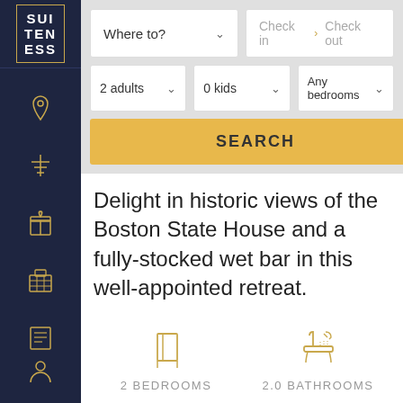[Figure (logo): Suiteness logo: SUI TEN ESS stacked text in white on dark navy background with gold border]
[Figure (screenshot): Search interface with Where to dropdown, Check in/Check out date fields, 2 adults dropdown, 0 kids dropdown, Any bedrooms dropdown, and SEARCH button]
Delight in historic views of the Boston State House and a fully-stocked wet bar in this well-appointed retreat.
[Figure (infographic): 2 BEDROOMS icon (door), 2.0 BATHROOMS icon (shower), 2 BEDS icon (bed), 1905 SQ FT icon (ruler)]